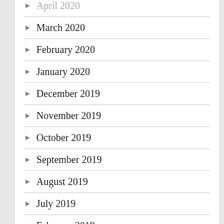March 2020
February 2020
January 2020
December 2019
November 2019
October 2019
September 2019
August 2019
July 2019
February 2019
January 2019
Categories